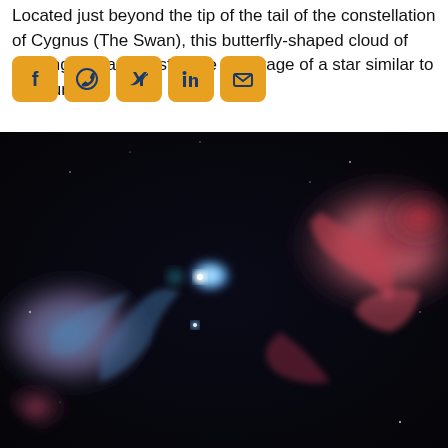Located just beyond the tip of the tail of the constellation of Cygnus (The Swan), this butterfly-shaped cloud of glowing gas and dust is the wreckage of a star similar to the Sun.
[Figure (photo): Hubble Space Telescope image of a butterfly-shaped planetary nebula (NGC 6302 or similar) in the constellation Cygnus. The nebula shows vivid red/pink glowing gas lobes on either side with a bright white-blue central star region, set against a dark space background.]